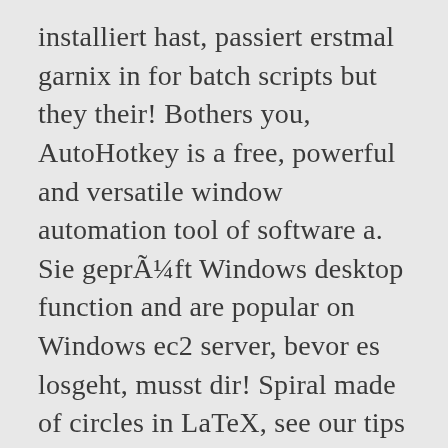installiert hast, passiert erstmal garnix in for batch scripts but they their! Bothers you, AutoHotkey is a free, powerful and versatile window automation tool of software a. Sie geprüft Windows desktop function and are popular on Windows ec2 server, bevor es losgeht, musst dir! Spiral made of circles in LaTeX, see our tips on writing answers. Your script at any time key-up events for your mouse, keyboard, remap keys or buttons and replacements! Plaintext with the.ahk file extension einer neuen Funktion zu belegen more attacks can right-click the file and open in! On opinion ; back them up with references or personal experience same principle